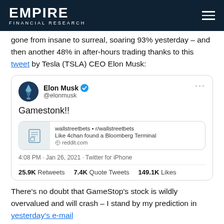EMPIRE FINANCIAL RESEARCH
gone from insane to surreal, soaring 93% yesterday – and then another 48% in after-hours trading thanks to this tweet by Tesla (TSLA) CEO Elon Musk:
[Figure (screenshot): Screenshot of Elon Musk tweet (@elonmusk) saying 'Gamestonk!!' with a link to wallstreetbets r/wallstreetbets subreddit. Tweet timestamp: 4:08 PM · Jan 26, 2021 · Twitter for iPhone. Stats: 25.9K Retweets, 7.4K Quote Tweets, 149.1K Likes]
There's no doubt that GameStop's stock is wildly overvalued and will crash – I stand by my prediction in yesterday's e-mail